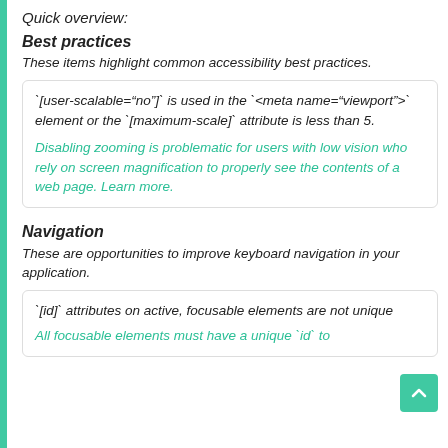Quick overview:
Best practices
These items highlight common accessibility best practices.
`[user-scalable="no"]` is used in the `<meta name="viewport">` element or the `[maximum-scale]` attribute is less than 5.
Disabling zooming is problematic for users with low vision who rely on screen magnification to properly see the contents of a web page. Learn more.
Navigation
These are opportunities to improve keyboard navigation in your application.
`[id]` attributes on active, focusable elements are not unique
All focusable elements must have a unique `id` to